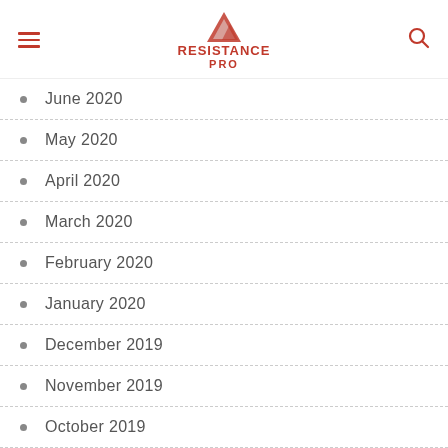RESISTANCE PRO
June 2020
May 2020
April 2020
March 2020
February 2020
January 2020
December 2019
November 2019
October 2019